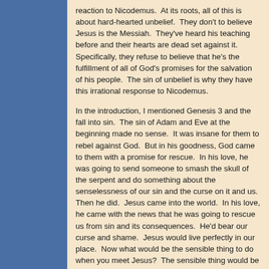reaction to Nicodemus.  At its roots, all of this is about hard-hearted unbelief.  They don't to believe Jesus is the Messiah.  They've heard his teaching before and their hearts are dead set against it.  Specifically, they refuse to believe that he's the fulfillment of all of God's promises for the salvation of his people.  The sin of unbelief is why they have this irrational response to Nicodemus.
In the introduction, I mentioned Genesis 3 and the fall into sin.  The sin of Adam and Eve at the beginning made no sense.  It was insane for them to rebel against God.  But in his goodness, God came to them with a promise for rescue.  In his love, he was going to send someone to smash the skull of the serpent and do something about the senselessness of our sin and the curse on it and us.  Then he did.  Jesus came into the world.  In his love, he came with the news that he was going to rescue us from sin and its consequences.  He'd bear our curse and shame.  Jesus would live perfectly in our place.  Now what would be the sensible thing to do when you meet Jesus?  The sensible thing would be to say, "Thank you, Lord.  Thank you for your love, for your grace.  Thank